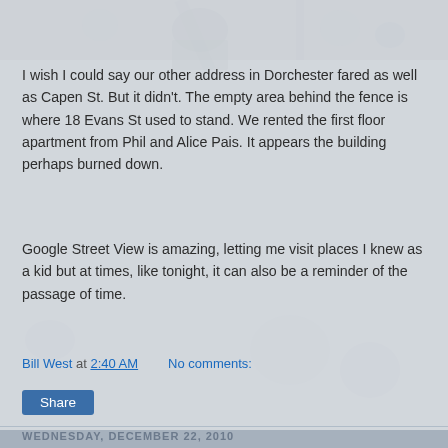[Figure (photo): Sepia/grayscale vintage group photograph used as background for the blog page. People visible in old-fashioned attire.]
I wish I could say our other address in Dorchester fared as well as Capen St. But it didn't. The empty area behind the fence is where 18 Evans St used to stand. We rented the first floor apartment from Phil and Alice Pais. It appears the building perhaps burned down.
Google Street View is amazing, letting me visit places I knew as a kid but at times, like tonight, it can also be a reminder of the passage of time.
Bill West at 2:40 AM    No comments:
Share
WEDNESDAY, DECEMBER 22, 2010
ADVENT CALENDAR GRAB BAG: JIMMY FALLON AND JACK BLACK
Last night I happened to catch this on Jimmy Fallon's show